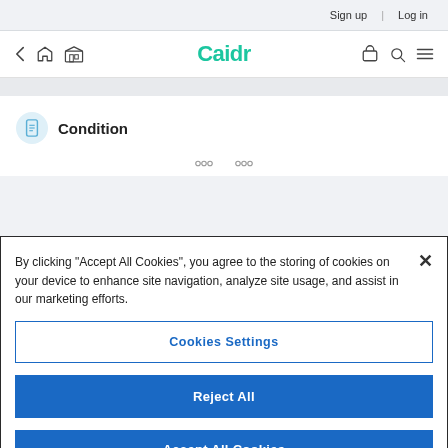Sign up  |  Log in
[Figure (screenshot): Caidr website navigation bar with back arrow, home, store icons on left; Caidr logo in center; bag, search, menu icons on right]
Condition
By clicking “Accept All Cookies”, you agree to the storing of cookies on your device to enhance site navigation, analyze site usage, and assist in our marketing efforts.
Cookies Settings
Reject All
Accept All Cookies